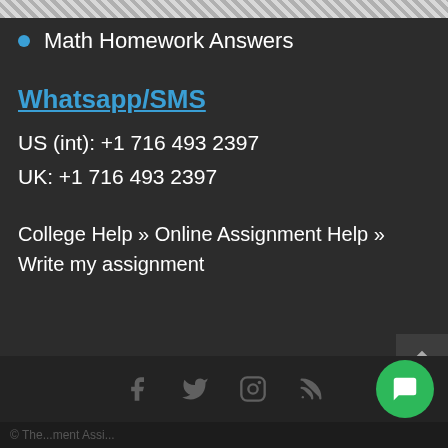Math Homework Answers
Whatsapp/SMS
US (int): +1 716 493 2397
UK: +1 716 493 2397
College Help » Online Assignment Help » Write my assignment
[Figure (other): Footer bar with social media icons: Facebook, Twitter, Instagram, RSS feed, and a green chat button]
© The ...ment Assi...